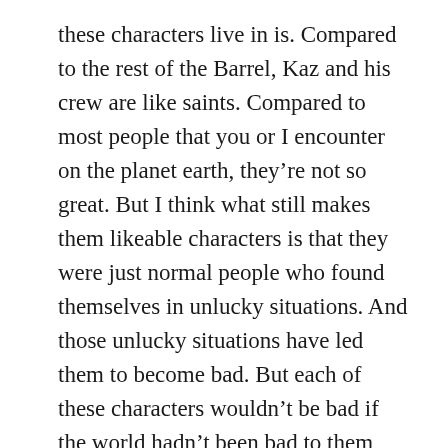these characters live in is. Compared to the rest of the Barrel, Kaz and his crew are like saints. Compared to most people that you or I encounter on the planet earth, they're not so great. But I think what still makes them likeable characters is that they were just normal people who found themselves in unlucky situations. And those unlucky situations have led them to become bad. But each of these characters wouldn't be bad if the world hadn't been bad to them first.
Q #6: Will Six of Crows be made into a movie?
A: It's not going to be made into a movie, as far as I'm aware. However, it is in the process of being made into a Netflix TV series. When I was at